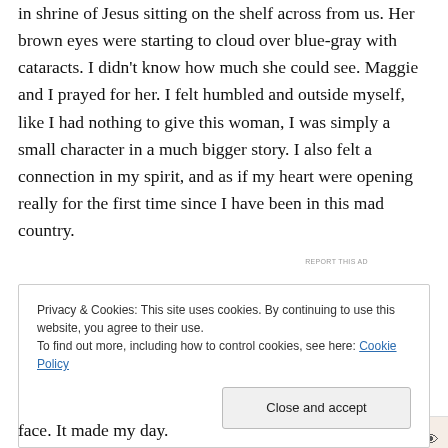in shrine of Jesus sitting on the shelf across from us. Her brown eyes were starting to cloud over blue-gray with cataracts. I didn't know how much she could see. Maggie and I prayed for her. I felt humbled and outside myself, like I had nothing to give this woman, I was simply a small character in a much bigger story. I also felt a connection in my spirit, and as if my heart were opening really for the first time since I have been in this mad country.
[Figure (screenshot): Advertisement banner with beige background showing text 'and on a budget?' and an eye icon, with 'REPORT THIS AD' label below]
Privacy & Cookies: This site uses cookies. By continuing to use this website, you agree to their use.
To find out more, including how to control cookies, see here: Cookie Policy

Close and accept
face. It made my day.